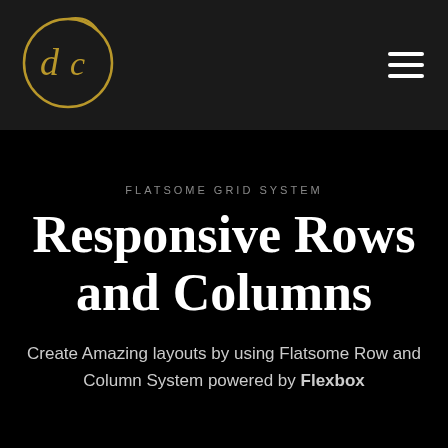[Figure (logo): Circular gold cursive logo with 'dc' initials on dark navigation bar]
Navigation bar with logo and hamburger menu
FLATSOME GRID SYSTEM
Responsive Rows and Columns
Create Amazing layouts by using Flatsome Row and Column System powered by Flexbox